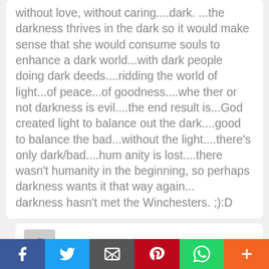without love, without caring....dark. ...the darkness thrives in the dark so it would make sense that she would consume souls to enhance a dark world...with dark people doing dark deeds....ridding the world of light...of peace...of goodness....whether or not darkness is evil....the end result is...God created light to balance out the dark....good to balance the bad...without the light....there's only dark/bad....humanity is lost....there wasn't humanity in the beginning, so perhaps darkness wants it that way again...

darkness hasn't met the Winchesters. ;):D
# AlyCat22  2015-10-17 19:52
What if Billie were God just manifesting as a reaper to talk to Sam?